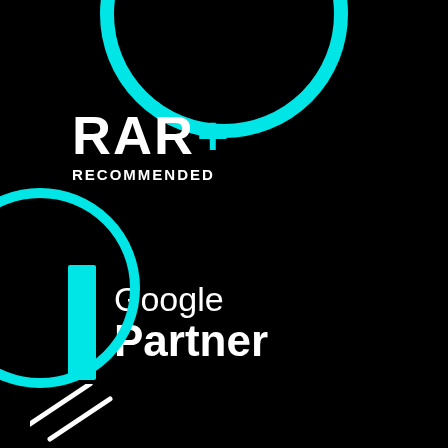[Figure (logo): RAR+ Recommended badge with white RAR text and cyan plus sign on black background]
[Figure (logo): Google Partner badge with cyan vertical bar and white text on black background]